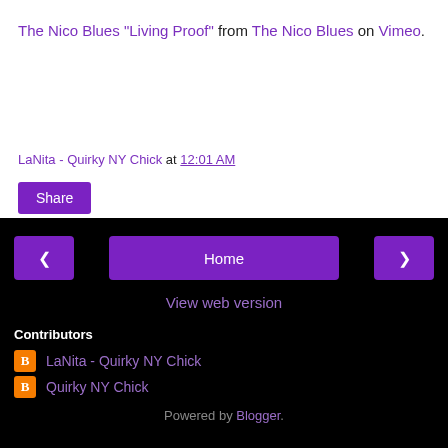The Nico Blues "Living Proof" from The Nico Blues on Vimeo.
LaNita - Quirky NY Chick at 12:01 AM
Share
< Home >
View web version
Contributors
LaNita - Quirky NY Chick
Quirky NY Chick
Powered by Blogger.